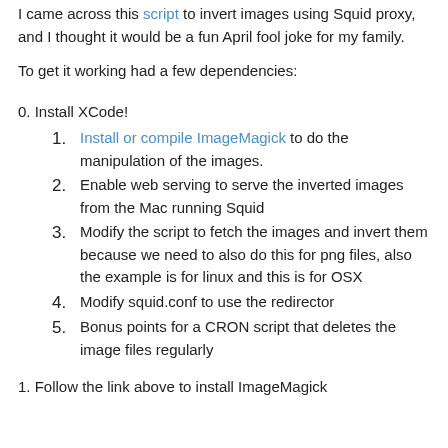I came across this script to invert images using Squid proxy, and I thought it would be a fun April fool joke for my family.
To get it working had a few dependencies:
0. Install XCode!
1. Install or compile ImageMagick to do the manipulation of the images.
2. Enable web serving to serve the inverted images from the Mac running Squid
3. Modify the script to fetch the images and invert them because we need to also do this for png files, also the example is for linux and this is for OSX
4. Modify squid.conf to use the redirector
5. Bonus points for a CRON script that deletes the image files regularly
1. Follow the link above to install ImageMagick